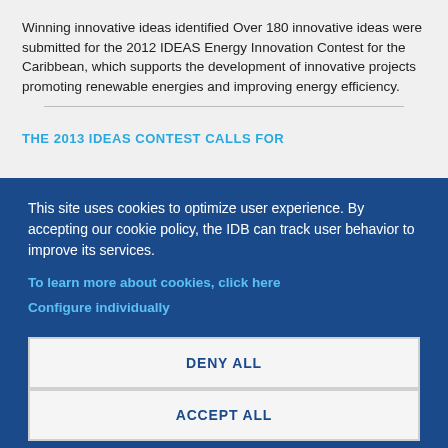Winning innovative ideas identified Over 180 innovative ideas were submitted for the 2012 IDEAS Energy Innovation Contest for the Caribbean, which supports the development of innovative projects promoting renewable energies and improving energy efficiency.
THE 2013 IDEAS CONTEST CALLS FOR
This site uses cookies to optimize user experience. By accepting our cookie policy, the IDB can track user behavior to improve its services.
To learn more about cookies, click here
Configure individually
DENY ALL
ACCEPT ALL